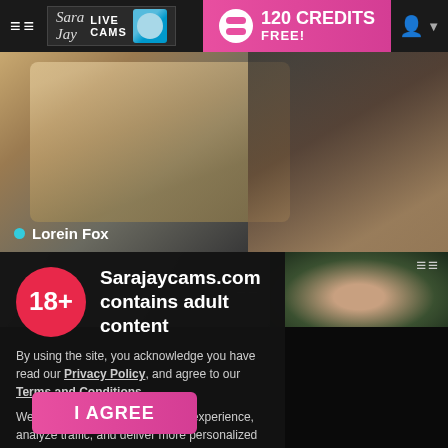≡≡  SaraJay LIVE CAMS  [avatar]  120 CREDITS FREE!  [user icon]
[Figure (photo): Hero image showing two women on a bed/couch; one with curly hair and one with tattoos on arm. Warm/golden background tones.]
● Lorein Fox
[Figure (photo): Two thumbnail images side by side: left showing grayscale scene, right showing a woman with dark hair against a green plant-patterned wall.]
[Figure (infographic): Age restriction modal overlay with 18+ badge circle in red, title text, body text about privacy policy and terms, and an I AGREE button.]
Sarajaycams.com contains adult content
By using the site, you acknowledge you have read our Privacy Policy, and agree to our Terms and Conditions.
We use cookies to optimize your experience, analyze traffic, and deliver more personalized service. To learn more, please see our Privacy Policy.
I AGREE